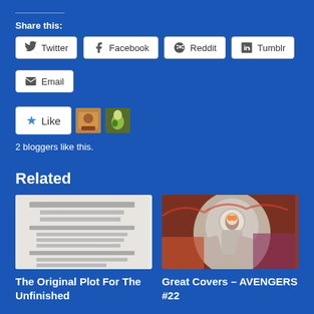Share this:
Twitter
Facebook
Reddit
Tumblr
Email
[Figure (other): Like button with star icon and two blogger avatars]
2 bloggers like this.
Related
[Figure (photo): Related article thumbnail: text document image for The Original Plot For The Unfinished]
The Original Plot For The Unfinished
[Figure (photo): Related article thumbnail: comic book cover art for Great Covers – AVENGERS #22]
Great Covers – AVENGERS #22